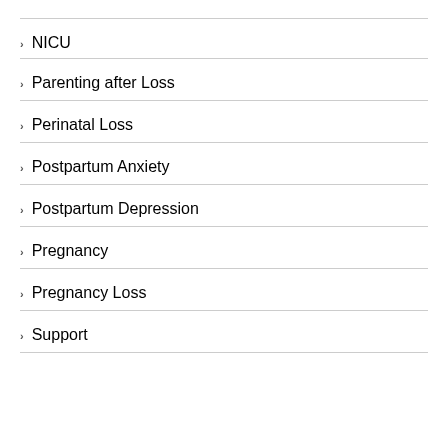NICU
Parenting after Loss
Perinatal Loss
Postpartum Anxiety
Postpartum Depression
Pregnancy
Pregnancy Loss
Support